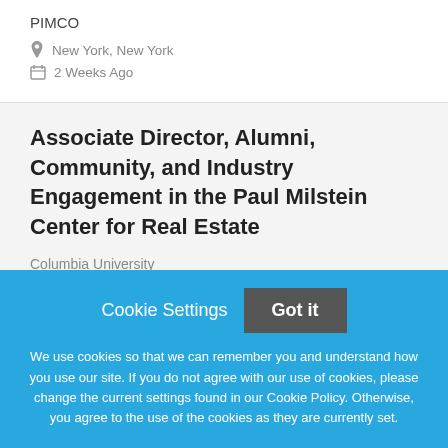PIMCO
New York, New York
2 Weeks Ago
Associate Director, Alumni, Community, and Industry Engagement in the Paul Milstein Center for Real Estate
Columbia University
New York, New York
Cookie Settings  Got it

We use cookies so that we can remember you and understand how you use our site. If you do not agree with our use of cookies, please change the current settings found in our Cookie Policy. Otherwise, you agree to the use of the cookies as they are currently set.